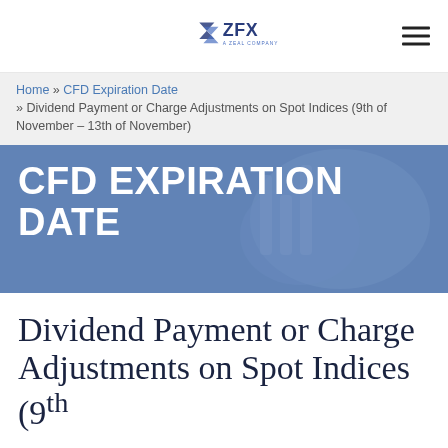ZFX - A Zeal Company
Home » CFD Expiration Date » Dividend Payment or Charge Adjustments on Spot Indices (9th of November – 13th of November)
CFD EXPIRATION DATE
Dividend Payment or Charge Adjustments on Spot Indices (9th of November – 13th of November)